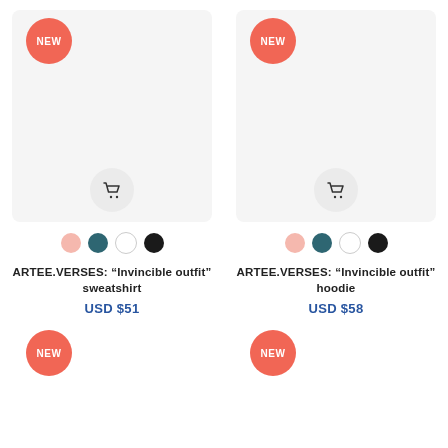[Figure (other): Product card: ARTEE.VERSES Invincible outfit sweatshirt with NEW badge, cart button, color swatches (pink, teal, white, black), price USD $51]
[Figure (other): Product card: ARTEE.VERSES Invincible outfit hoodie with NEW badge, cart button, color swatches (pink, teal, white, black), price USD $58]
ARTEE.VERSES: "Invincible outfit" sweatshirt
USD $51
ARTEE.VERSES: "Invincible outfit" hoodie
USD $58